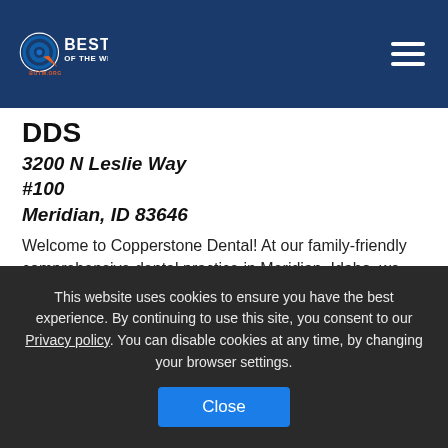[Figure (logo): Best of the Web (BOTW.ORG) logo with circular target icon and navigation hamburger menu on dark blue background]
DDS
3200 N Leslie Way
#100
Meridian, ID 83646
Welcome to Copperstone Dental! At our family-friendly comprehensive dental practice in Meridian, Idaho, we make a big deal about our patients. Our talented, gentle dentist, Dr. Matthew Tuft, truly takes the time to get to know each patient personally and always takes the time to
This website uses cookies to ensure you have the best experience. By continuing to use this site, you consent to our Privacy policy. You can disable cookies at any time, by changing your browser settings.